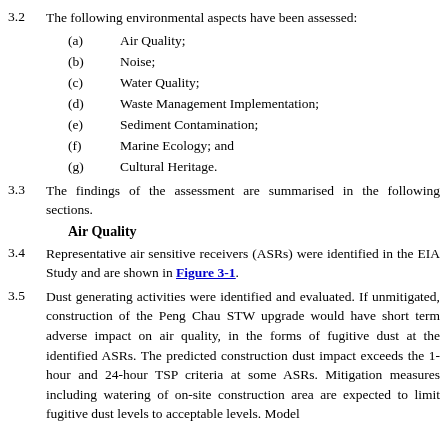3.2   The following environmental aspects have been assessed:
(a)   Air Quality;
(b)   Noise;
(c)   Water Quality;
(d)   Waste Management Implementation;
(e)   Sediment Contamination;
(f)   Marine Ecology; and
(g)   Cultural Heritage.
3.3   The findings of the assessment are summarised in the following sections.
Air Quality
3.4   Representative air sensitive receivers (ASRs) were identified in the EIA Study and are shown in Figure 3-1.
3.5   Dust generating activities were identified and evaluated. If unmitigated, construction of the Peng Chau STW upgrade would have short term adverse impact on air quality, in the forms of fugitive dust at the identified ASRs. The predicted construction dust impact exceeds the 1-hour and 24-hour TSP criteria at some ASRs. Mitigation measures including watering of on-site construction area are expected to limit fugitive dust levels to acceptable levels. Model